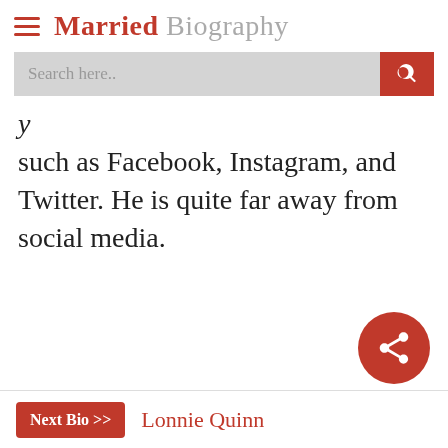Married Biography
such as Facebook, Instagram, and Twitter. He is quite far away from social media.
Next Bio >> Lonnie Quinn